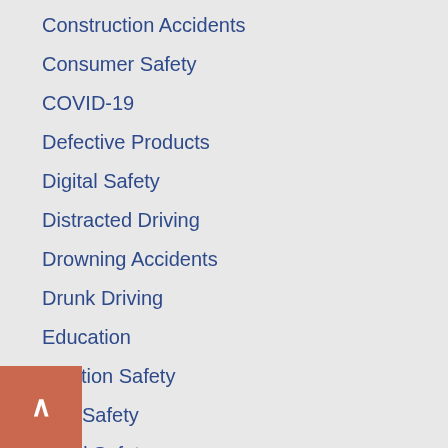Construction Accidents
Consumer Safety
COVID-19
Defective Products
Digital Safety
Distracted Driving
Drowning Accidents
Drunk Driving
Education
Election Safety
Fire Safety
Food Safety